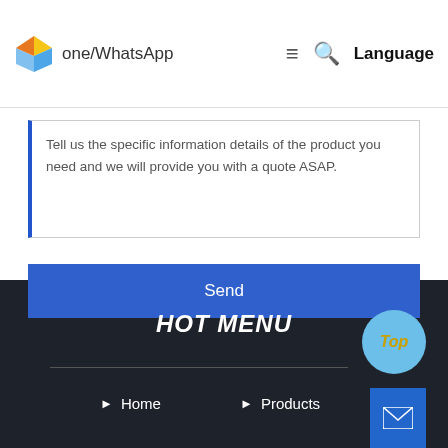one/WhatsApp  ☰  🔍  Language
Tell us the specific information details of the product you need and we will provide you with a quote ASAP.
Send
HOT MENU
Home
Products